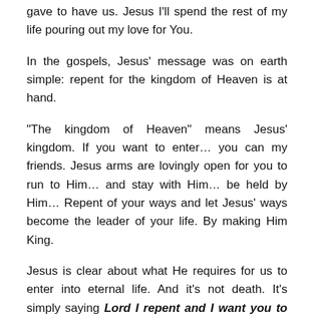gave to have us. Jesus I'll spend the rest of my life pouring out my love for You.
In the gospels, Jesus' message was on earth simple: repent for the kingdom of Heaven is at hand.
“The kingdom of Heaven” means Jesus’ kingdom. If you want to enter… you can my friends. Jesus arms are lovingly open for you to run to Him… and stay with Him… be held by Him… Repent of your ways and let Jesus’ ways become the leader of your life. By making Him King.
Jesus is clear about what He requires for us to enter into eternal life. And it’s not death. It’s simply saying Lord I repent and I want you to be Lord now and forever. Then it’s done. On the spot.
Jesus will always be transparent with you.